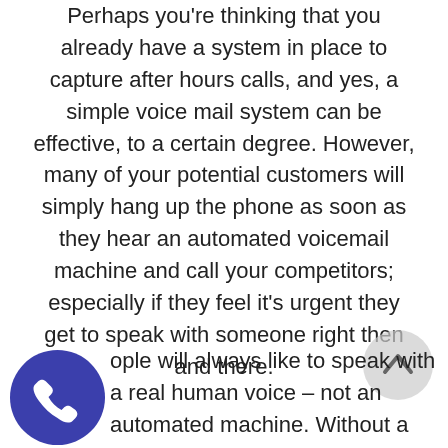Perhaps you're thinking that you already have a system in place to capture after hours calls, and yes, a simple voice mail system can be effective, to a certain degree. However, many of your potential customers will simply hang up the phone as soon as they hear an automated voicemail machine and call your competitors; especially if they feel it's urgent they get to speak with someone right then and there.
[Figure (illustration): Blue circle with white telephone handset icon]
[Figure (illustration): Light gray circle with upward-pointing arrow icon (scroll to top button)]
ople will always like to speak with a real human voice – not an automated machine. Without a 24/7 telephone answering service in place